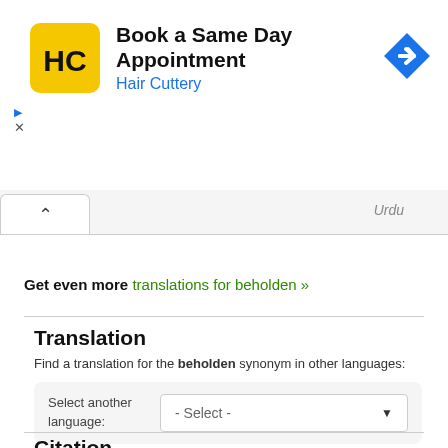[Figure (screenshot): Advertisement banner for Hair Cuttery - Book a Same Day Appointment, with yellow HC logo and blue navigation arrow icon]
Urdu
Get even more translations for beholden »
Translation
Find a translation for the beholden synonym in other languages:
Select another language: - Select -
Citation